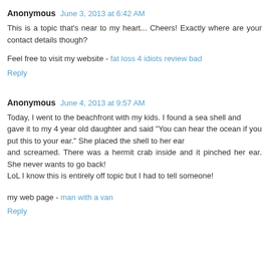Anonymous  June 3, 2013 at 6:42 AM
This is a topic that's near to my heart... Cheers! Exactly where are your contact details though?
Feel free to visit my website - fat loss 4 idiots review bad
Reply
Anonymous  June 4, 2013 at 9:57 AM
Today, I went to the beachfront with my kids. I found a sea shell and gave it to my 4 year old daughter and said "You can hear the ocean if you put this to your ear." She placed the shell to her ear and screamed. There was a hermit crab inside and it pinched her ear. She never wants to go back! LoL I know this is entirely off topic but I had to tell someone!
my web page - man with a van
Reply